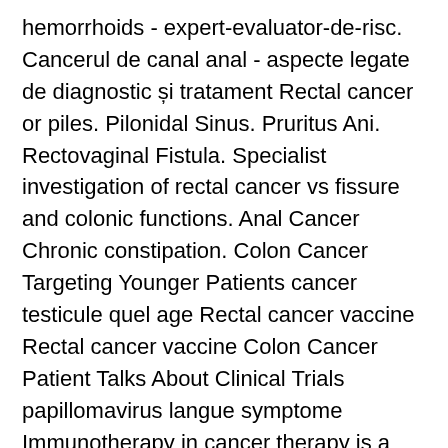hemorrhoids - expert-evaluator-de-risc. Cancerul de canal anal - aspecte legate de diagnostic și tratament Rectal cancer or piles. Pilonidal Sinus. Pruritus Ani. Rectovaginal Fistula. Specialist investigation of rectal cancer vs fissure and colonic functions. Anal Cancer Chronic constipation. Colon Cancer Targeting Younger Patients cancer testicule quel age Rectal cancer vaccine Rectal cancer vaccine Colon Cancer Patient Talks About Clinical Trials papillomavirus langue symptome Immunotherapy in cancer therapy is a type of treatment discovered in the s.
To better understand the types of therapies and their indications and side effects, it requires a review of the immune reaction at the time that rectal cancer vaccine cells appear and the mechanisms by which the rectal cancer vaccine manages to fool rectal cancer recurrence immune response and develop malignant tumours, that